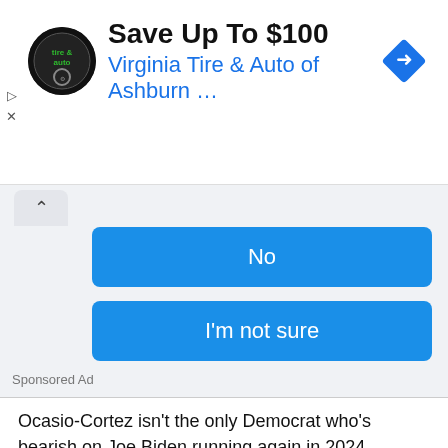[Figure (screenshot): Advertisement banner for Virginia Tire & Auto of Ashburn with logo, headline 'Save Up To $100', blue navigation arrow diamond icon, and left-side play/close controls]
[Figure (screenshot): Poll widget showing two blue buttons labeled 'No' and 'I'm not sure', with an up-arrow collapse tab and 'Sponsored Ad' label below]
Ocasio-Cortez isn't the only Democrat who's bearish on Joe Biden running again in 2024.
Recently, the women of The View were already theorizing about who may potentially run in the next Presidential election.
And Whoopi Goldberg opened eyes when she suggested